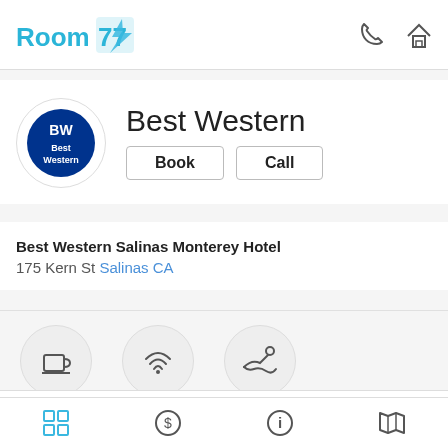[Figure (logo): Room 77 logo with blue text and lightning bolt icon]
[Figure (logo): Best Western BW circular logo]
Best Western
Book | Call
Best Western Salinas Monterey Hotel
175 Kern St Salinas CA
[Figure (infographic): Amenity icons: Breakfast service, Free WiFi, Number of outdoor pools]
| Check-In | Check-Out | Stars |
| --- | --- | --- |
| 3:00 PM - anytime | 11:00 AM | 2 |
[Figure (infographic): Bottom navigation icons: grid, dollar, info, map]